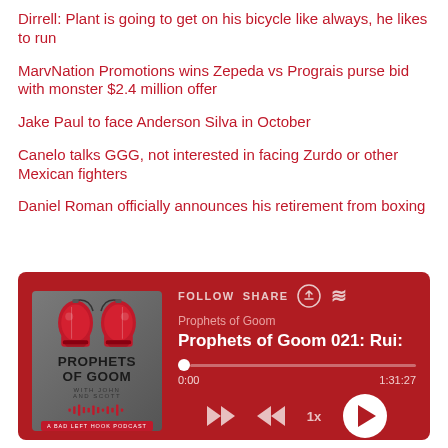Dirrell: Plant is going to get on his bicycle like always, he likes to run
MarvNation Promotions wins Zepeda vs Prograis purse bid with monster $2.4 million offer
Jake Paul to face Anderson Silva in October
Canelo talks GGG, not interested in facing Zurdo or other Mexican fighters
Daniel Roman officially announces his retirement from boxing
[Figure (screenshot): Podcast player widget for 'Prophets of Goom' podcast showing episode 'Prophets of Goom 021: Rui...' with dark red background, album art, follow/share controls, progress bar at 0:00 of 1:31:27, and playback controls including rewind, fast forward, 1x speed, and play button.]